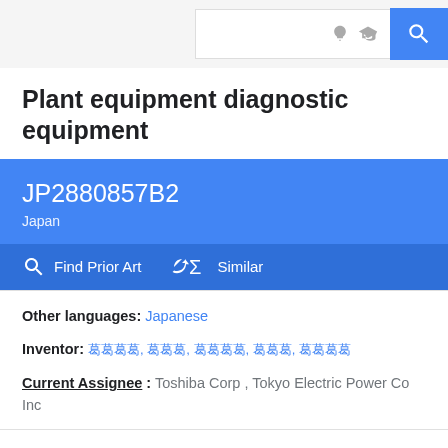Search bar with bulb icon, graduation icon, and search button
Plant equipment diagnostic equipment
JP2880857B2
Japan
Find Prior Art   Similar
Other languages: Japanese
Inventor: (Japanese characters)
Current Assignee : Toshiba Corp , Tokyo Electric Power Co Inc
Worldwide applications
1992 · JP